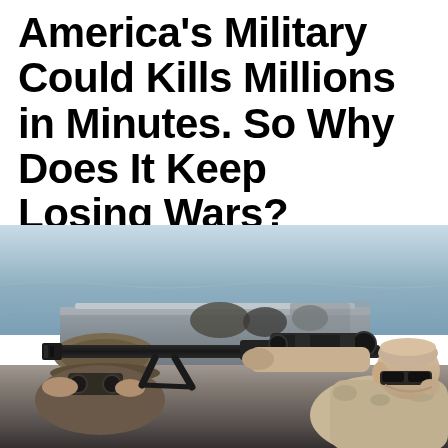America's Military Could Kills Millions in Minutes. So Why Does It Keep Losing Wars?
[Figure (photo): Two military personnel lying prone on a surface, one aiming a large sniper rifle with scope and bipod over the edge toward the ocean, with a military patrol boat visible in the background on blue water.]